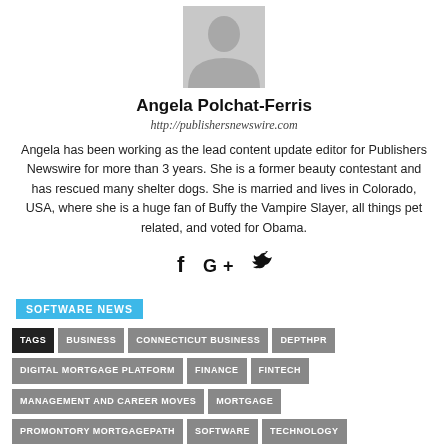[Figure (illustration): Generic avatar/profile silhouette placeholder image in light gray]
Angela Polchat-Ferris
http://publishersnewswire.com
Angela has been working as the lead content update editor for Publishers Newswire for more than 3 years. She is a former beauty contestant and has rescued many shelter dogs. She is married and lives in Colorado, USA, where she is a huge fan of Buffy the Vampire Slayer, all things pet related, and voted for Obama.
[Figure (illustration): Social media icons: Facebook (f), Google+ (G+), Twitter bird]
SOFTWARE NEWS
TAGS  BUSINESS  CONNECTICUT BUSINESS  DEPTHPR  DIGITAL MORTGAGE PLATFORM  FINANCE  FINTECH  MANAGEMENT AND CAREER MOVES  MORTGAGE  PROMONTORY MORTGAGEPATH  SOFTWARE  TECHNOLOGY